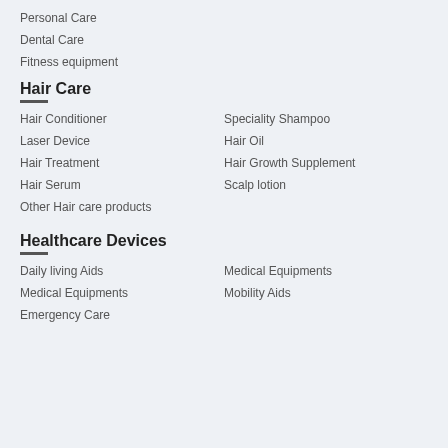Personal Care
Dental Care
Fitness equipment
Hair Care
Hair Conditioner
Speciality Shampoo
Laser Device
Hair Oil
Hair Treatment
Hair Growth Supplement
Hair Serum
Scalp lotion
Other Hair care products
Healthcare Devices
Daily living Aids
Medical Equipments
Medical Equipments
Mobility Aids
Emergency Care